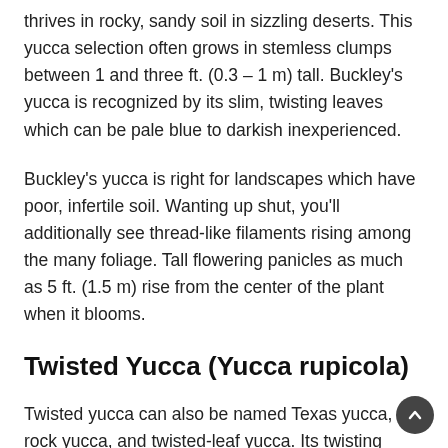thrives in rocky, sandy soil in sizzling deserts. This yucca selection often grows in stemless clumps between 1 and three ft. (0.3 – 1 m) tall. Buckley's yucca is recognized by its slim, twisting leaves which can be pale blue to darkish inexperienced.
Buckley's yucca is right for landscapes which have poor, infertile soil. Wanting up shut, you'll additionally see thread-like filaments rising among the many foliage. Tall flowering panicles as much as 5 ft. (1.5 m) rise from the center of the plant when it blooms.
Twisted Yucca (Yucca rupicola)
Twisted yucca can also be named Texas yucca, rock yucca, and twisted-leaf yucca. Its twisting sword-shaped leaves are vivid inexperienced to darkish inexperienced. As with most